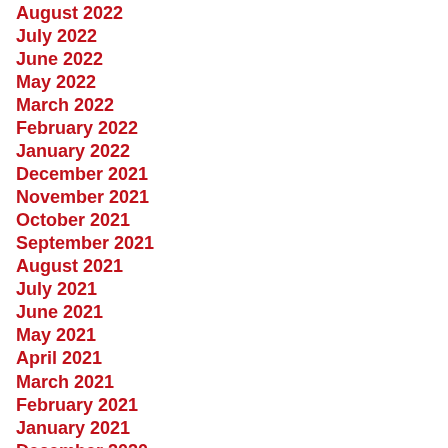August 2022
July 2022
June 2022
May 2022
March 2022
February 2022
January 2022
December 2021
November 2021
October 2021
September 2021
August 2021
July 2021
June 2021
May 2021
April 2021
March 2021
February 2021
January 2021
December 2020